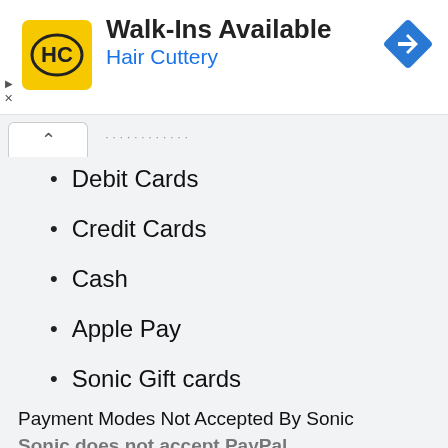[Figure (logo): Hair Cuttery advertisement banner with HC logo on yellow background, Walk-Ins Available heading, Hair Cuttery subtitle in blue, and navigation diamond icon]
Debit Cards
Credit Cards
Cash
Apple Pay
Sonic Gift cards
Payment Modes Not Accepted By Sonic
Sonic does not accept PayPal...